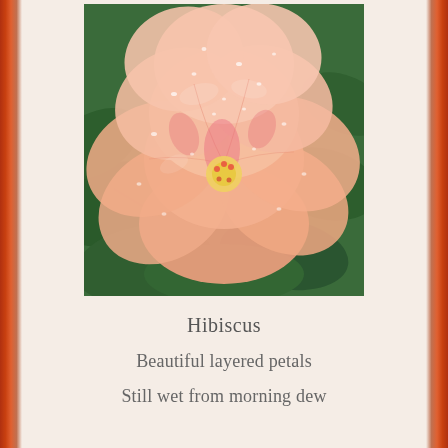[Figure (photo): Close-up photo of a pink/peach hibiscus flower with layered petals covered in water droplets, with green leaves in the background.]
Hibiscus
Beautiful layered petals
Still wet from morning dew